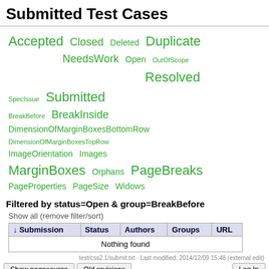Submitted Test Cases
[Figure (infographic): Tag cloud of test case statuses and groups. Status tags (green): Accepted (xl), Closed (l), Deleted (m), Duplicate (xl), NeedsWork (l), Open (m), OutOfScope (s), Resolved (xl), SpecIssue (s), Submitted (xl). Group tags (green): BreakBefore (s), BreakInside (l), DimensionOfMarginBoxesBottomRow (m), DimensionOfMarginBoxesTopRow (s), ImageOrientation (m), Images (m), MarginBoxes (xl), Orphans (m), PageBreaks (xl), PageProperties (m), PageSize (m), Widows (m).]
Filtered by status=Open & group=BreakBefore
Show all (remove filter/sort)
| ↓ Submission | Status | Authors | Groups | URL |
| --- | --- | --- | --- | --- |
| Nothing found |  |  |  |  |
test/css2.1/submit.txt · Last modified: 2014/12/09 15:48 (external edit)
Show pagesource   Old revisions   Log In
[Figure (logo): RSS XML Feed badge, W3C XHTML 1.0 badge, W3C CSS badge, DokuWiki badge]